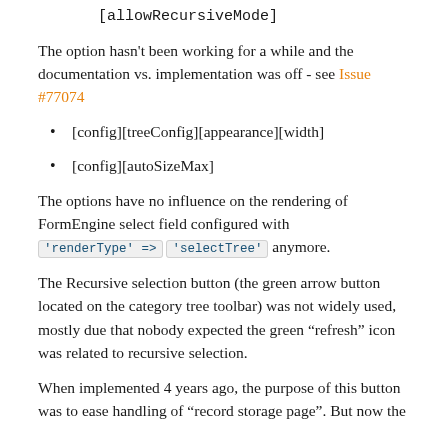[allowRecursiveMode]
The option hasn't been working for a while and the documentation vs. implementation was off - see Issue #77074
[config][treeConfig][appearance][width]
[config][autoSizeMax]
The options have no influence on the rendering of FormEngine select field configured with 'renderType' => 'selectTree' anymore.
The Recursive selection button (the green arrow button located on the category tree toolbar) was not widely used, mostly due that nobody expected the green “refresh” icon was related to recursive selection.
When implemented 4 years ago, the purpose of this button was to ease handling of “record storage page”. But now the